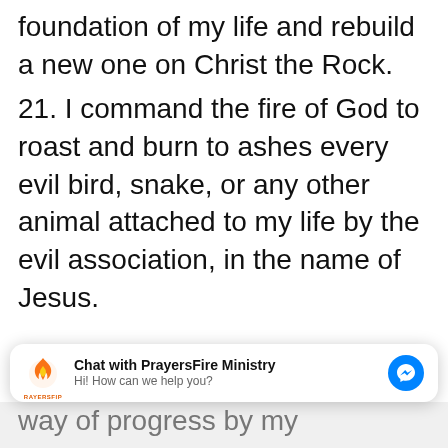foundation of my life and rebuild a new one on Christ the Rock.
21. I command the fire of God to roast and burn to ashes every evil bird, snake, or any other animal attached to my life by the evil association, in the name of Jesus.
22. I dismantle every hindrance,
[Figure (screenshot): Facebook Messenger chat widget overlay showing PrayersFire Ministry logo, text 'Chat with PrayersFire Ministry' and 'Hi! How can we help you?' with a blue Messenger icon button]
way of progress by my